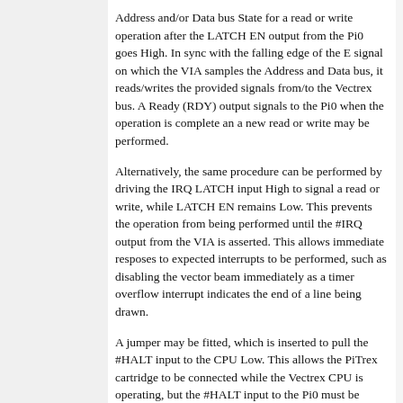Address and/or Data bus State for a read or write operation after the LATCH EN output from the Pi0 goes High. In sync with the falling edge of the E signal on which the VIA samples the Address and Data bus, it reads/writes the provided signals from/to the Vectrex bus. A Ready (RDY) output signals to the Pi0 when the operation is complete an a new read or write may be performed.
Alternatively, the same procedure can be performed by driving the IRQ LATCH input High to signal a read or write, while LATCH EN remains Low. This prevents the operation from being performed until the #IRQ output from the VIA is asserted. This allows immediate resposes to expected interrupts to be performed, such as disabling the vector beam immediately as a timer overflow interrupt indicates the end of a line being drawn.
A jumper may be fitted, which is inserted to pull the #HALT input to the CPU Low. This allows the PiTrex cartridge to be connected while the Vectrex CPU is operating, but the #HALT input to the Pi0 must be checked by the PiTrex software to ensure that this jumper is inserted, and the CPU is therefore not using the Vectrex bus, before allowing any read or